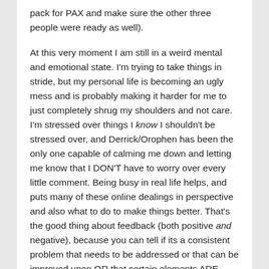pack for PAX and make sure the other three people were ready as well).
At this very moment I am still in a weird mental and emotional state. I'm trying to take things in stride, but my personal life is becoming an ugly mess and is probably making it harder for me to just completely shrug my shoulders and not care. I'm stressed over things I know I shouldn't be stressed over, and Derrick/Orophen has been the only one capable of calming me down and letting me know that I DON'T have to worry over every little comment. Being busy in real life helps, and puts many of these online dealings in perspective and also what to do to make things better. That's the good thing about feedback (both positive and negative), because you can tell if its a consistent problem that needs to be addressed or that can be improved upon OR that certain elements ARE appreciated by others and don't need that much fixing up if at all. Though my ideal situation would be to please anyone, I am hardly going to strive for it.